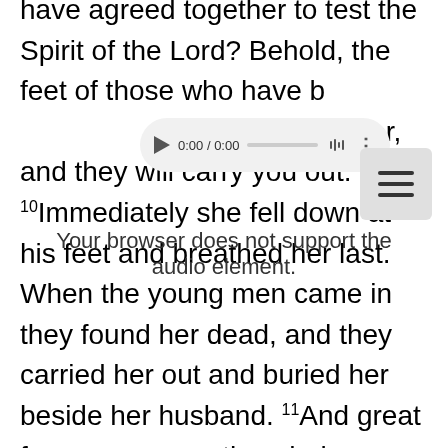have agreed together to test the Spirit of the Lord? Behold, the feet of those who have buried your husband are at the door, and they will carry you out. 10 Immediately she fell down at his feet and breathed her last. When the young men came in they found her dead, and they carried her out and buried her beside her husband. 11 And great fear came upon the whole church and upon all who heard of these things.